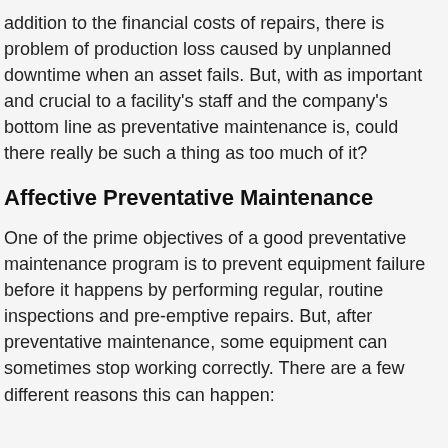addition to the financial costs of repairs, there is problem of production loss caused by unplanned downtime when an asset fails. But, with as important and crucial to a facility's staff and the company's bottom line as preventative maintenance is, could there really be such a thing as too much of it?
Affective Preventative Maintenance
One of the prime objectives of a good preventative maintenance program is to prevent equipment failure before it happens by performing regular, routine inspections and pre-emptive repairs. But, after preventative maintenance, some equipment can sometimes stop working correctly. There are a few different reasons this can happen: